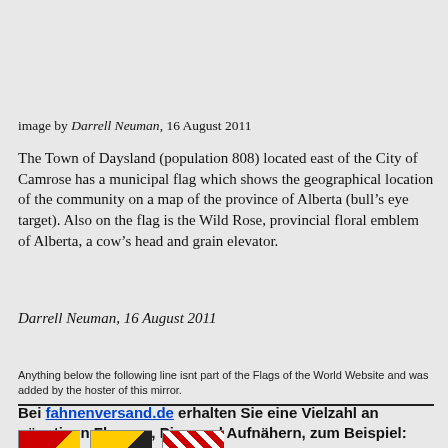image by Darrell Neuman, 16 August 2011
The Town of Daysland (population 808) located east of the City of Camrose has a municipal flag which shows the geographical location of the community on a map of the province of Alberta (bull’s eye target). Also on the flag is the Wild Rose, provincial floral emblem of Alberta, a cow’s head and grain elevator.
Darrell Neuman, 16 August 2011
Anything below the following line isnt part of the Flags of the World Website and was added by the hoster of this mirror.
Bei fahnenversand.de erhalten Sie eine Vielzahl an günstigen Flaggen, Pins und Aufnähern, zum Beispiel:
[Figure (photo): Three small flag images shown at the bottom of the page]
[Figure (photo): Second flag image]
[Figure (photo): Third flag image]